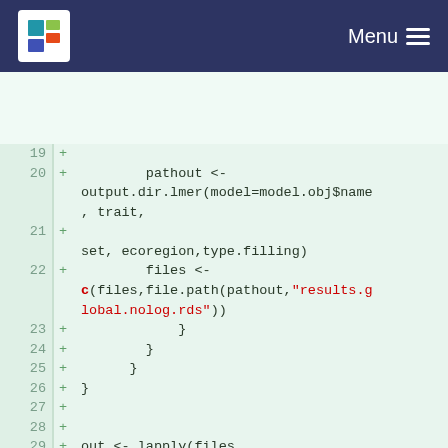Menu
[Figure (screenshot): R code diff showing lines 19-31 with added lines (green +) containing R code for path construction, file list building with lapply, and names assignment.]